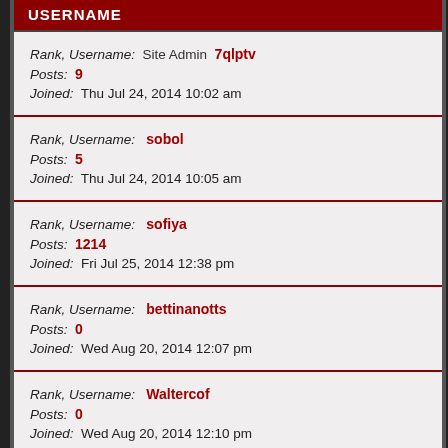USERNAME
Rank, Username: Site Admin 7qlptv | Posts: 9 | Joined: Thu Jul 24, 2014 10:02 am
Rank, Username: sobol | Posts: 5 | Joined: Thu Jul 24, 2014 10:05 am
Rank, Username: sofiya | Posts: 1214 | Joined: Fri Jul 25, 2014 12:38 pm
Rank, Username: bettinanotts | Posts: 0 | Joined: Wed Aug 20, 2014 12:07 pm
Rank, Username: Waltercof | Posts: 0 | Joined: Wed Aug 20, 2014 12:10 pm
Rank, Username: BrendaLow | Posts: 0 | Joined: Wed Aug 20, 2014 12:12 pm